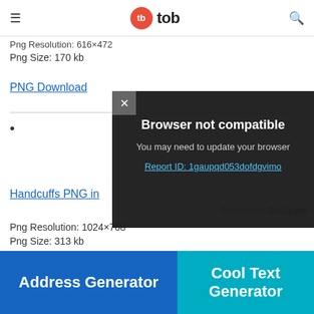tb tob
Png Resolution: 616×472
Png Size: 170 kb
PNG Download
•
[Figure (screenshot): Browser not compatible modal dialog with dark background. Shows '× Browser not compatible', 'You may need to update your browser', and 'Report ID: 1gaupqd053dofdgvimo' link in blue.]
Handcuffs PNG in
Powered by GliaStudio
Png Resolution: 1024×768
Png Size: 313 kb
PNG Download
Address Generator
Cool Text Generator